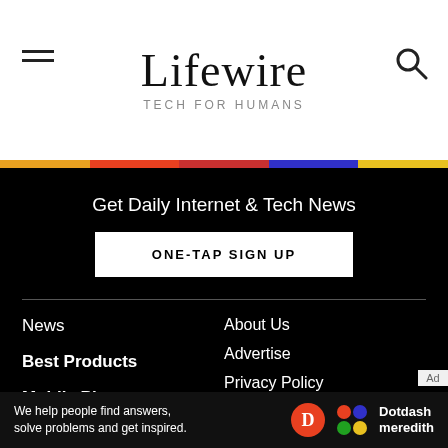Lifewire TECH FOR HUMANS
Get Daily Internet & Tech News
ONE-TAP SIGN UP
News
Best Products
Mobile Phones
Computers
About Us
Advertise
Privacy Policy
Cookie Policy
Careers
Editorial Guidelines
We help people find answers, solve problems and get inspired. Dotdash meredith